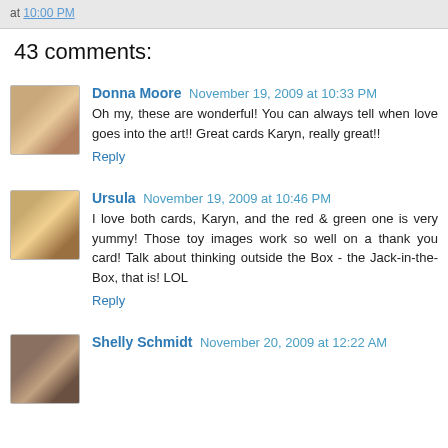at 10:00 PM
43 comments:
Donna Moore  November 19, 2009 at 10:33 PM
Oh my, these are wonderful! You can always tell when love goes into the art!! Great cards Karyn, really great!!
Reply
Ursula  November 19, 2009 at 10:46 PM
I love both cards, Karyn, and the red & green one is very yummy! Those toy images work so well on a thank you card! Talk about thinking outside the Box - the Jack-in-the-Box, that is! LOL
Reply
Shelly Schmidt  November 20, 2009 at 12:22 AM